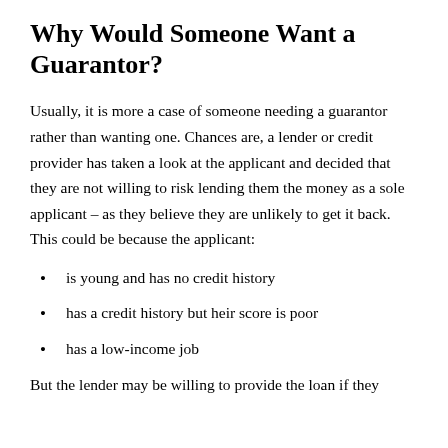Why Would Someone Want a Guarantor?
Usually, it is more a case of someone needing a guarantor rather than wanting one. Chances are, a lender or credit provider has taken a look at the applicant and decided that they are not willing to risk lending them the money as a sole applicant – as they believe they are unlikely to get it back. This could be because the applicant:
is young and has no credit history
has a credit history but heir score is poor
has a low-income job
But the lender may be willing to provide the loan if they